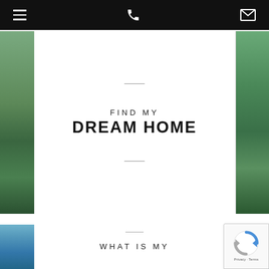Navigation bar with hamburger menu, phone icon, and email icon
[Figure (screenshot): Card with background landscape photo showing green hills. Centered white panel with separator line, text FIND MY in uppercase spaced letters, DREAM HOME in bold large uppercase letters, and a second separator line.]
FIND MY DREAM HOME
[Figure (screenshot): Second card with blue sky/water background photo. Centered white panel showing separator and text WHAT IS MY beginning to appear at bottom.]
WHAT IS MY